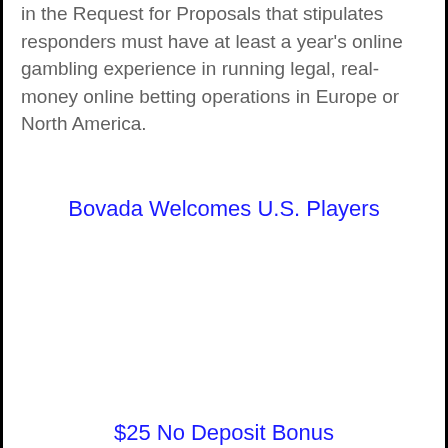in the Request for Proposals that stipulates responders must have at least a year's online gambling experience in running legal, real-money online betting operations in Europe or North America.
Bovada Welcomes U.S. Players
$25 No Deposit Bonus